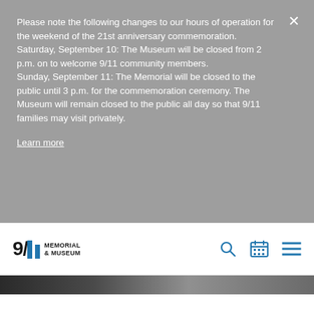Please note the following changes to our hours of operation for the weekend of the 21st anniversary commemoration. Saturday, September 10: The Museum will be closed from 2 p.m. on to welcome 9/11 community members. Sunday, September 11: The Memorial will be closed to the public until 3 p.m. for the commemoration ceremony. The Museum will remain closed to the public all day so that 9/11 families may visit privately.
Learn more
[Figure (logo): 9/11 Memorial & Museum logo with blue twin tower bars and black text]
[Figure (screenshot): Navigation icons: search (magnifying glass), calendar, and hamburger menu in blue]